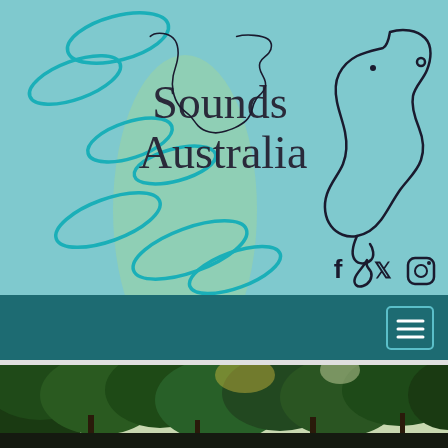[Figure (logo): Sounds Australia logo on light blue background with teal oval/leaf decorative elements on the left side, a green organic blob shape behind them, and an outline of Australia made from an audio cable/headphone wire on the right. Text reads 'Sounds Australia' in dark serif font.]
[Figure (screenshot): Dark teal navigation bar with a hamburger menu button (three white lines) in the top right corner with teal border]
[Figure (photo): Outdoor photo showing green trees and foliage against a light sky, bottom portion of a webpage]